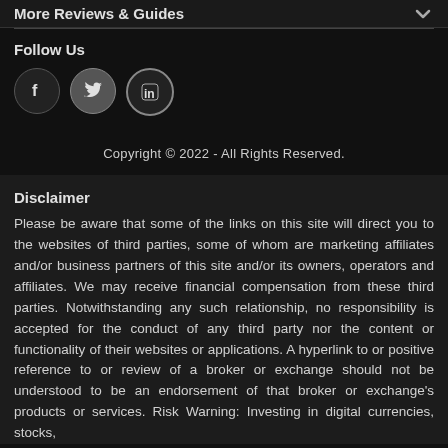More Reviews & Guides
Follow Us
[Figure (illustration): Three social media icons in circles: Facebook (f), Twitter (bird), LinkedIn (in)]
Copyright © 2022 - All Rights Reserved.
Disclaimer
Please be aware that some of the links on this site will direct you to the websites of third parties, some of whom are marketing affiliates and/or business partners of this site and/or its owners, operators and affiliates. We may receive financial compensation from these third parties. Notwithstanding any such relationship, no responsibility is accepted for the conduct of any third party nor the content or functionality of their websites or applications. A hyperlink to or positive reference to or review of a broker or exchange should not be understood to be an endorsement of that broker or exchange's products or services. Risk Warning: Investing in digital currencies, stocks,